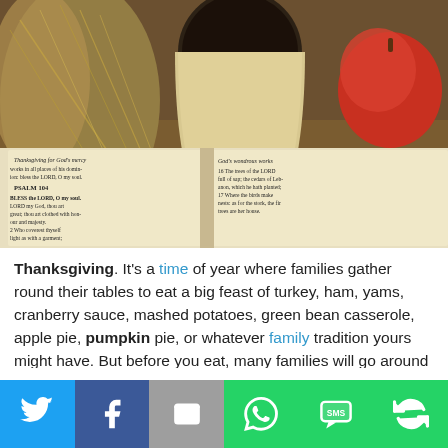[Figure (photo): Thanksgiving scene showing an open Bible with Psalm 104 visible, a wooden chalice/cup, wheat stalks, red berries with autumn leaves, and a red apple — all arranged as a harvest/thanksgiving still life.]
Thanksgiving. It's a time of year where families gather round their tables to eat a big feast of turkey, ham, yams, cranberry sauce, mashed potatoes, green bean casserole, apple pie, pumpkin pie, or whatever family tradition yours might have. But before you eat, many families will go around the table and say what they are thankful for over the past year.
[Figure (infographic): Social media share bar with six buttons: Twitter (blue bird icon), Facebook (white f on dark blue), Email (envelope on gray), WhatsApp (phone icon on green), SMS (speech bubble with SMS on green), and a circular arrows icon on green.]